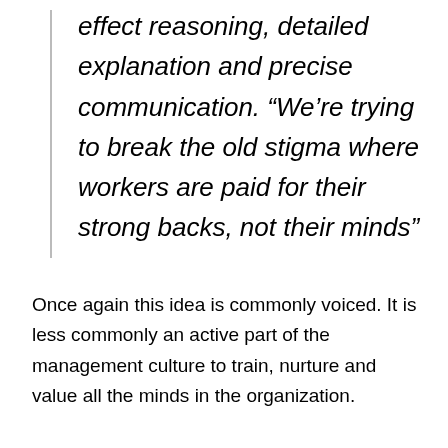effect reasoning, detailed explanation and precise communication. “We’re trying to break the old stigma where workers are paid for their strong backs, not their minds”
Once again this idea is commonly voiced. It is less commonly an active part of the management culture to train, nurture and value all the minds in the organization.